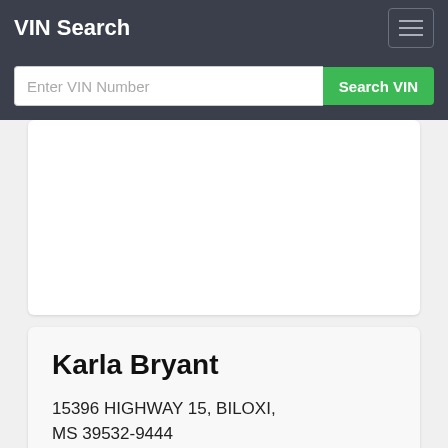VIN Search
Enter VIN Number
Search VIN
Karla Bryant
15396 HIGHWAY 15, BILOXI, MS 39532-9444
VIN: JTKDE177470183871